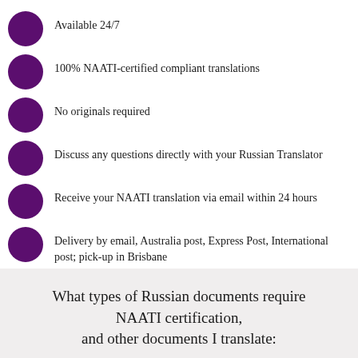Available 24/7
100% NAATI-certified compliant translations
No originals required
Discuss any questions directly with your Russian Translator
Receive your NAATI translation via email within 24 hours
Delivery by email, Australia post, Express Post, International post; pick-up in Brisbane
What types of Russian documents require NAATI certification, and other documents I translate: